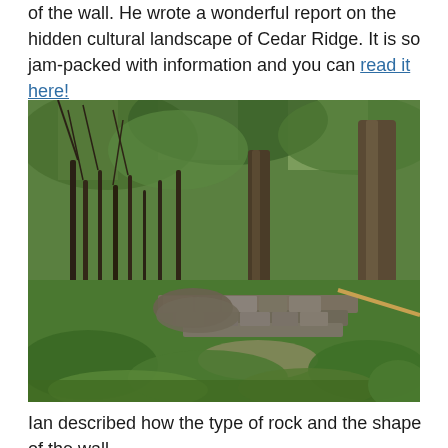of the wall. He wrote a wonderful report on the hidden cultural landscape of Cedar Ridge. It is so jam-packed with information and you can read it here!
[Figure (photo): A forest scene showing a stone wall partially hidden among lush green vegetation, ferns, and trees in a woodland setting at Cedar Ridge.]
Ian described how the type of rock and the shape of the wall